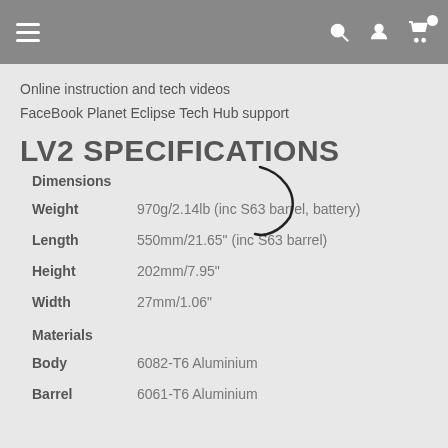Online instruction and tech videos
FaceBook Planet Eclipse Tech Hub support
LV2 SPECIFICATIONS
Dimensions
| Property | Value |
| --- | --- |
| Weight | 970g/2.14lb (inc S63 barrel, battery) |
| Length | 550mm/21.65" (inc S63 barrel) |
| Height | 202mm/7.95" |
| Width | 27mm/1.06" |
Materials
| Property | Value |
| --- | --- |
| Body | 6082-T6 Aluminium |
| Barrel | 6061-T6 Aluminium |